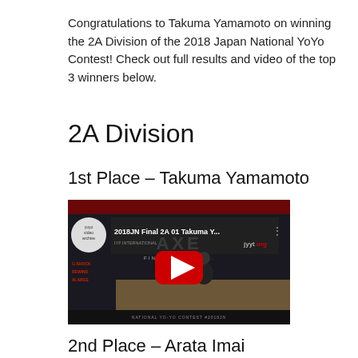Congratulations to Takuma Yamamoto on winning the 2A Division of the 2018 Japan National YoYo Contest! Check out full results and video of the top 3 winners below.
2A Division
1st Place – Takuma Yamamoto
[Figure (screenshot): YouTube video thumbnail showing '2018JN Final 2A 01 Takuma Y...' with a performer on stage. Red play button in center. Yoyo video archive logo in top left. AXE branding visible. Japan National Yo-Yo Contest branding at bottom.]
2nd Place – Arata Imai